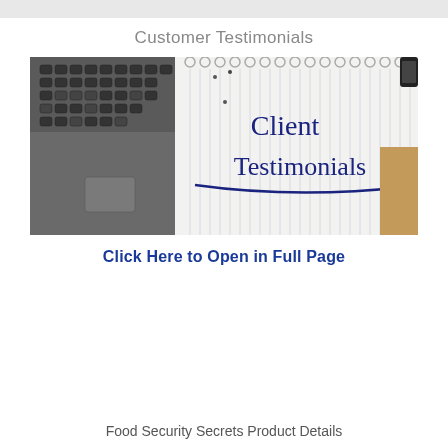Customer Testimonials
[Figure (photo): Photo of a laptop keyboard next to a spiral-bound notebook with 'Client Testimonials' written in dark blue handwriting on lined paper, placed on a wooden surface with a phone visible in the corner.]
Click Here to Open in Full Page
Food Security Secrets Product Details